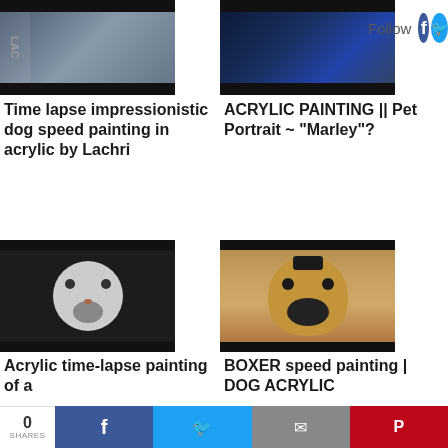[Figure (photo): Thumbnail of impressionistic dog painting by Lachri with LAC text visible, dark bottom bar]
[Figure (photo): Thumbnail of acrylic painting in blue tones, dark bottom bar]
[Figure (other): Follow button with Facebook and Twitter icons]
Time lapse impressionistic dog speed painting in acrylic by Lachri
ACRYLIC PAINTING || Pet Portrait ~ "Marley"?
[Figure (photo): Thumbnail of dachshund dog face painting on black background]
[Figure (photo): Thumbnail of boxer dog portrait painting]
Acrylic time-lapse painting of a
BOXER speed painting | DOG ACRYLIC
0 SHARES | Share on Facebook | Share on Twitter | Share via Email | Share on Pinterest